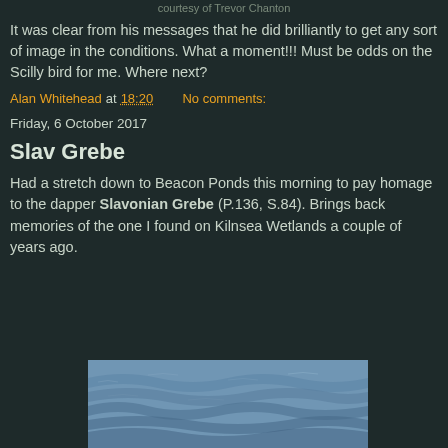courtesy of Trevor Chanton
It was clear from his messages that he did brilliantly to get any sort of image in the conditions. What a moment!!! Must be odds on the Scilly bird for me. Where next?
Alan Whitehead at 18:20   No comments:
Friday, 6 October 2017
Slav Grebe
Had a stretch down to Beacon Ponds this morning to pay homage to the dapper Slavonian Grebe (P.136, S.84). Brings back memories of the one I found on Kilnsea Wetlands a couple of years ago.
[Figure (photo): Partial photo of water surface with blue-grey rippling waves, cropped at bottom of page.]